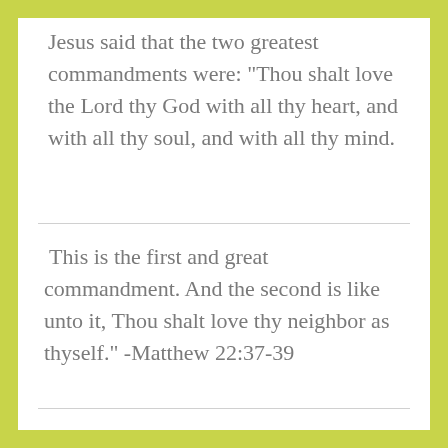Jesus said that the two greatest commandments were: "Thou shalt love the Lord thy God with all thy heart, and with all thy soul, and with all thy mind.
This is the first and great commandment. And the second is like unto it, Thou shalt love thy neighbor as thyself." -Matthew 22:37-39